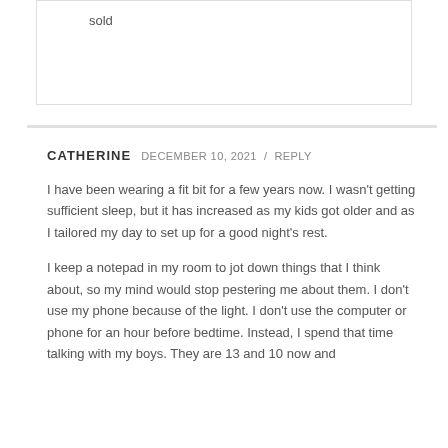sold
CATHERINE  DECEMBER 10, 2021 /  REPLY
I have been wearing a fit bit for a few years now. I wasn't getting sufficient sleep, but it has increased as my kids got older and as I tailored my day to set up for a good night's rest.
I keep a notepad in my room to jot down things that I think about, so my mind would stop pestering me about them. I don't use my phone because of the light. I don't use the computer or phone for an hour before bedtime. Instead, I spend that time talking with my boys. They are 13 and 10 now and